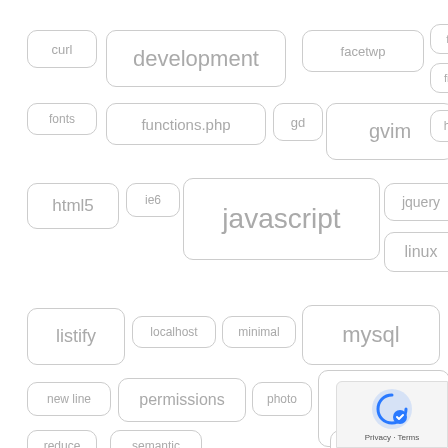[Figure (other): Tag cloud of technology/web development keywords including: curl, development, facetwp, find, firefox, fonts, functions.php, gd, gvim, high, html5, ie6, javascript, jquery, linux, listify, localhost, minimal, mysql, newline, permissions, photo, php, reduce, semantic, sifr3]